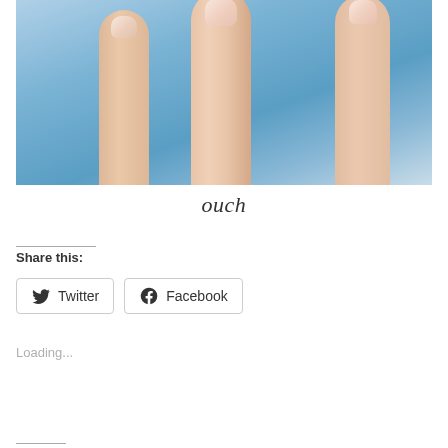[Figure (photo): Close-up photo of fingers against a blue fabric background, showing fingertips and fingernails in detail]
ouch
Share this:
Twitter
Facebook
Loading...